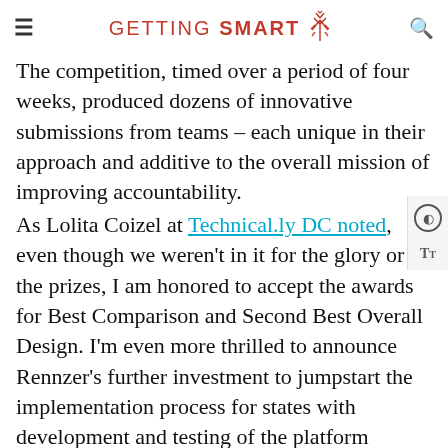GETTING SMART
The competition, timed over a period of four weeks, produced dozens of innovative submissions from teams – each unique in their approach and additive to the overall mission of improving accountability.
As Lolita Coizel at Technical.ly DC noted, even though we weren't in it for the glory or the prizes, I am honored to accept the awards for Best Comparison and Second Best Overall Design. I'm even more thrilled to announce Rennzer's further investment to jumpstart the implementation process for states with development and testing of the platform currently underway. Implementing our agile